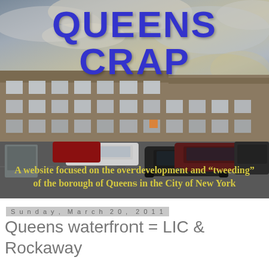[Figure (photo): Banner image for 'Queens Crap' website showing a large brick apartment building behind a parking lot with several cars and shopping carts, against a cloudy dusk sky. Large bold blue title 'QUEENS CRAP' at top, yellow italic subtitle text at bottom of image.]
Sunday, March 20, 2011
Queens waterfront = LIC & Rockaway